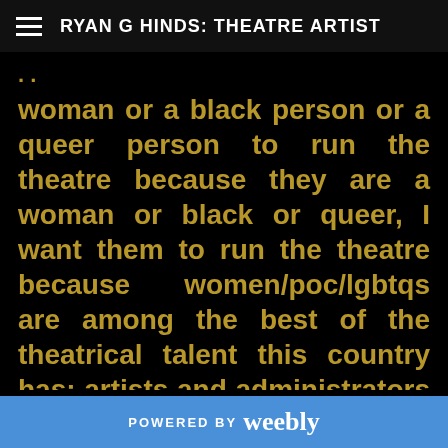RYAN G HINDS: THEATRE ARTIST
woman or a black person or a queer person to run the theatre because they are a woman or black or queer, I want them to run the theatre because women/poc/lgbtqs are among the best of the theatrical talent this country has: artists and administrators who are visionary and can lead it to success and can revolutionize it. All of the names
POWERED BY weebly